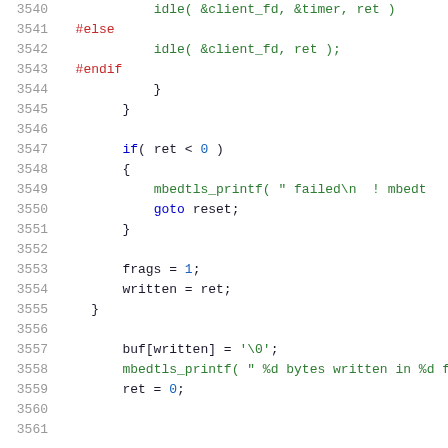Source code listing, lines 3540-3560, C code with syntax highlighting